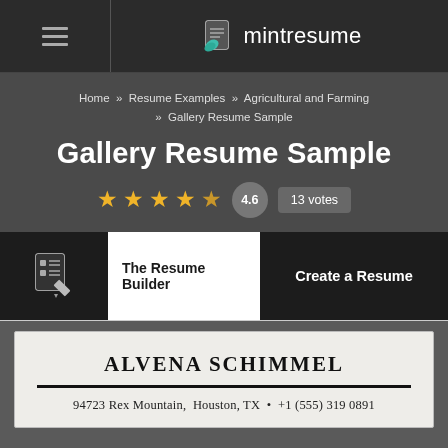mintresume
Home » Resume Examples » Agricultural and Farming » Gallery Resume Sample
Gallery Resume Sample
4.6 · 13 votes
The Resume Builder
Create a Resume
ALVENA SCHIMMEL
94723 Rex Mountain,  Houston, TX  •  +1 (555) 319 0891